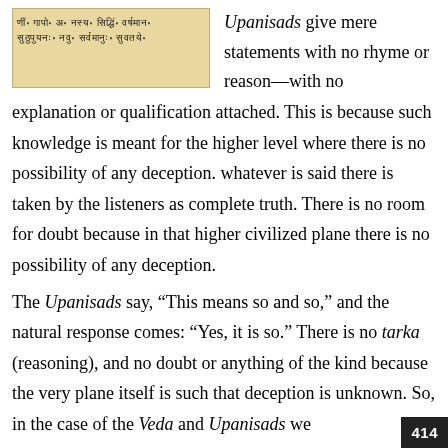[Figure (photo): Image of Sanskrit manuscript text on aged paper, showing Devanagari script in two lines.]
Upanisads give mere statements with no rhyme or reason—with no explanation or qualification attached. This is because such knowledge is meant for the higher level where there is no possibility of any deception. whatever is said there is taken by the listeners as complete truth. There is no room for doubt because in that higher civilized plane there is no possibility of any deception.
The Upanisads say, “This means so and so,” and the natural response comes: “Yes, it is so.” There is no tarka (reasoning), and no doubt or anything of the kind because the very plane itself is such that deception is unknown. So, in the case of the Veda and Upanisads we
414